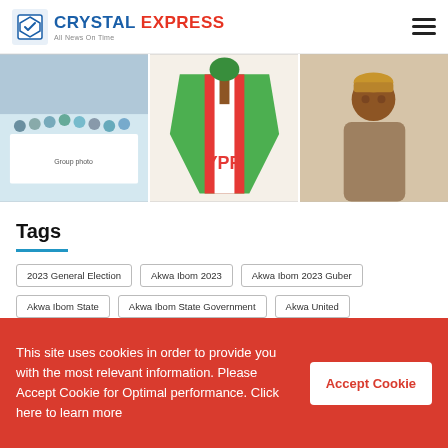Crystal Express
[Figure (photo): Three news article thumbnail images: group photo with banner, YPP political party logo, man in traditional attire]
Tags
2023 General Election
Akwa Ibom 2023
Akwa Ibom 2023 Guber
Akwa Ibom State
Akwa Ibom State Government
Akwa United
Assam Assam
Bassey Albert
Bayelsa State
Delta State
This site uses cookies in order to provide you with the most relevant information. Please Accept Cookie for Optimal performance. Click here to learn more